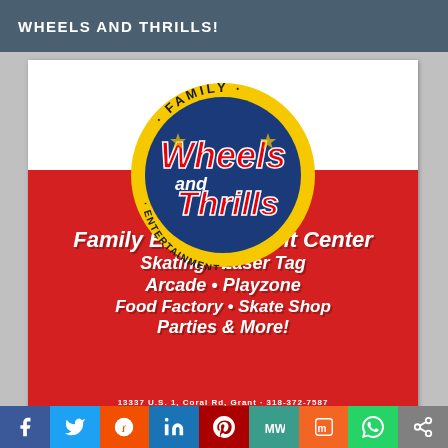WHEELS AND THRILLS!
[Figure (logo): Wheels and Thrills Family Entertainment logo — circular badge with dark blue center, yellow ring, red script text 'Wheels and Thrills', 'FAMILY' at top, 'ENTERTAINMENT' at bottom]
Family Entertainment Center
Skating • Laser Tag
Arcade • Playzone
Food Factory • Skate Shop
Parties & More!
[Figure (infographic): Social media share bar with icons: Facebook, Twitter, Reddit, LinkedIn, Pinterest, MeWe, Mix, WhatsApp, Share]